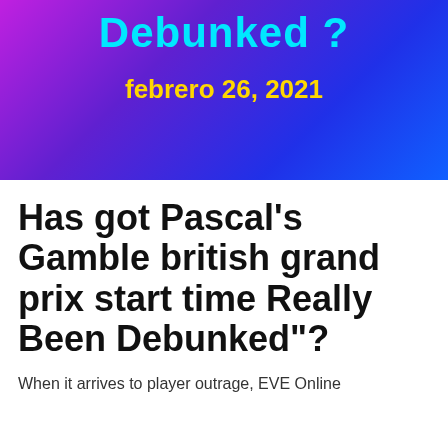[Figure (other): Banner with gradient background (pink/purple/blue) showing partially visible title 'Debunked?' in cyan and date in yellow]
Has got Pascal's Gamble british grand prix start time Really Been Debunked"?
When it arrives to player outrage, EVE Online